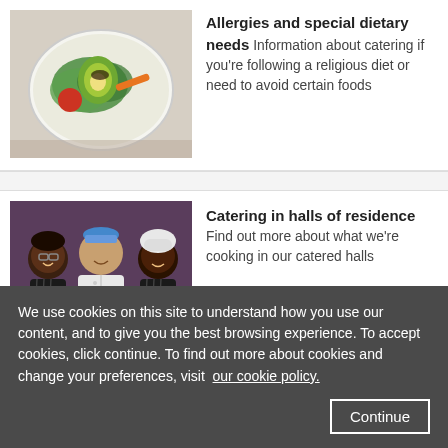[Figure (photo): A plate with salad greens, avocado, tomato and vegetables on a white plate]
Allergies and special dietary needs Information about catering if you're following a religious diet or need to avoid certain foods
[Figure (photo): Three catering staff (two women and one man in chef whites) smiling in a kitchen]
Catering in halls of residence Find out more about what we're cooking in our catered halls
We use cookies on this site to understand how you use our content, and to give you the best browsing experience. To accept cookies, click continue. To find out more about cookies and change your preferences, visit our cookie policy.